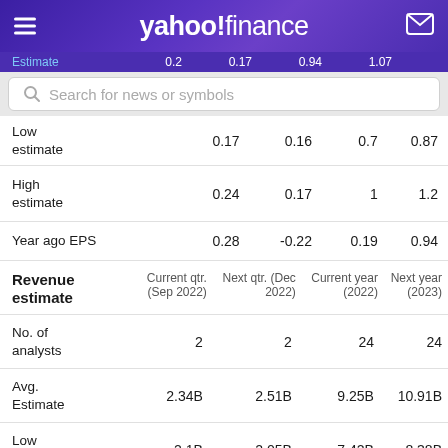yahoo! finance
Estimate   0.2   0.17   0.94   1.07
|  | Current qtr. (Sep 2022) | Next qtr. (Dec 2022) | Current year (2022) | Next year (2023) |
| --- | --- | --- | --- | --- |
| Low estimate | 0.17 | 0.16 | 0.7 | 0.87 |
| High estimate | 0.24 | 0.17 | 1 | 1.2 |
| Year ago EPS | 0.28 | -0.22 | 0.19 | 0.94 |
| Revenue estimate | Current qtr. (Sep 2022) | Next qtr. (Dec 2022) | Current year (2022) | Next year (2023) |
| --- | --- | --- | --- | --- |
| No. of analysts | 2 | 2 | 24 | 24 |
| Avg. Estimate | 2.34B | 2.51B | 9.25B | 10.91B |
| Low estimate | 2.1B | 2.05B | 7.42B | 8.38B |